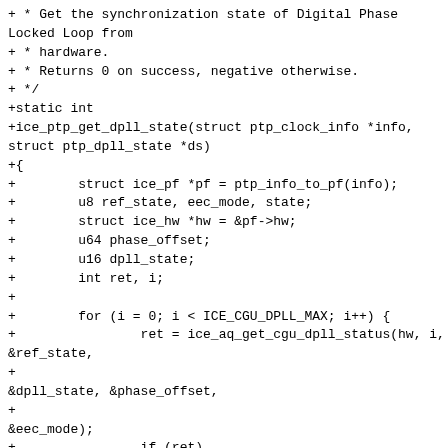+ * Get the synchronization state of Digital Phase Locked Loop from
+ * hardware.
+ * Returns 0 on success, negative otherwise.
+ */
+static int
+ice_ptp_get_dpll_state(struct ptp_clock_info *info, struct ptp_dpll_state *ds)
+{
+        struct ice_pf *pf = ptp_info_to_pf(info);
+        u8 ref_state, eec_mode, state;
+        struct ice_hw *hw = &pf->hw;
+        u64 phase_offset;
+        u16 dpll_state;
+        int ret, i;
+
+        for (i = 0; i < ICE_CGU_DPLL_MAX; i++) {
+                ret = ice_aq_get_cgu_dpll_status(hw, i,
&ref_state,
+
&dpll_state, &phase_offset,
+
&eec_mode);
+                if (ret)
+                        return ret;
+                state = dpll_state >>
+
ICE_AQC_GET_CGU_DPLL_STATUS_STATE_MODE_SHIFT;
+                if (state &
ICE_AQC_GET_CGU_DPLL_STATUS_STATE_LOCK)